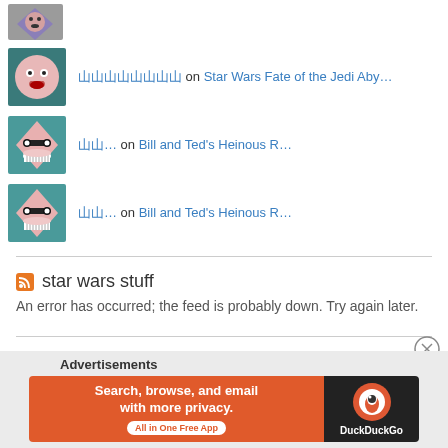[Figure (illustration): Avatar: cartoon face with surprised expression on teal/dark background, partially cut at top]
󿿿󿿿󿿿󿿿󿿿󿿿󿿿󿿿 on Star Wars Fate of the Jedi Aby…
[Figure (illustration): Avatar: cartoon diamond-shaped character with sunglasses and big grin on teal background]
󿿿󿿿… on Bill and Ted's Heinous R…
[Figure (illustration): Avatar: same cartoon diamond-shaped character with sunglasses and big grin on teal background]
󿿿󿿿… on Bill and Ted's Heinous R…
star wars stuff
An error has occurred; the feed is probably down. Try again later.
Advertisements
[Figure (infographic): DuckDuckGo advertisement banner: orange left side with 'Search, browse, and email with more privacy. All in One Free App' and dark right side with DuckDuckGo logo]